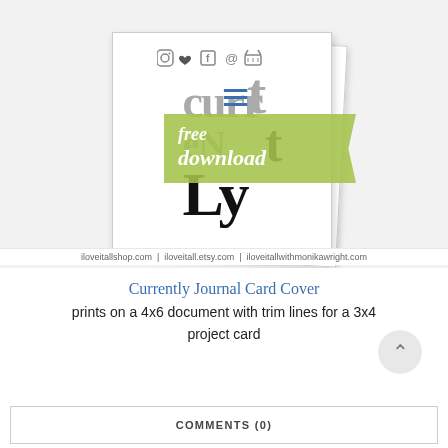[Figure (illustration): Currently Journal Card Cover printable — two overlapping white cards (one rotated), showing the word 'currently' in large bold letters (gray and black), with a green 'free download' ribbon badge on the right side. Social media icons appear at the top center of the card.]
iloveitallshop.com | iloveitall.etsy.com | iloveitallwithmonikawright.com
Currently Journal Card Cover
prints on a 4x6 document with trim lines for a 3x4 project card
COMMENTS (0)